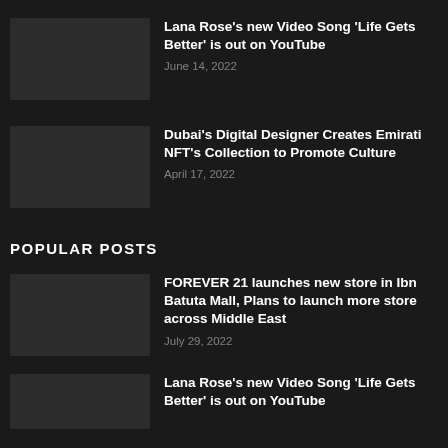[Figure (photo): Thumbnail placeholder for Lana Rose article]
Lana Rose's new Video Song 'Life Gets Better' is out on YouTube
June 14, 2022
[Figure (photo): Thumbnail placeholder for Dubai Digital Designer article]
Dubai's Digital Designer Creates Emirati NFT's Collection to Promote Culture
April 17, 2022
POPULAR POSTS
[Figure (photo): Thumbnail placeholder for FOREVER 21 article]
FOREVER 21 launches new store in Ibn Batuta Mall, Plans to launch more store across Middle East
July 29, 2022
[Figure (photo): Thumbnail placeholder for Lana Rose second article]
Lana Rose's new Video Song 'Life Gets Better' is out on YouTube